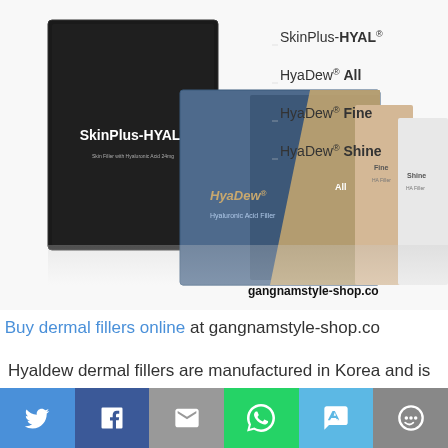[Figure (photo): Product photo of SkinPlus-HYAL black box and HyaDew All, Fine, Shine dermal filler boxes with product name labels: SkinPlus-HYAL, HyaDew All, HyaDew Fine, HyaDew Shine. Watermark: gangnamstyle-shop.co]
Buy dermal fillers online at gangnamstyle-shop.co
Hyaldew dermal fillers are manufactured in Korea and is the only Korean hyaluronic acid with CE certified.